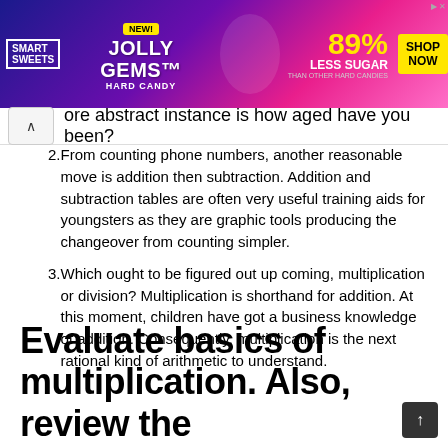[Figure (illustration): Smart Sweets Jolly Gems Hard Candy advertisement banner showing 89% Less Sugar claim with Shop Now button]
ore abstract instance is how aged have you been?
2. From counting phone numbers, another reasonable move is addition then subtraction. Addition and subtraction tables are often very useful training aids for youngsters as they are graphic tools producing the changeover from counting simpler.
3. Which ought to be figured out up coming, multiplication or division? Multiplication is shorthand for addition. At this moment, children have got a business knowledge of addition. Consequently, multiplication is the next rational kind of arithmetic to understand.
Evaluate basics of multiplication. Also, review the